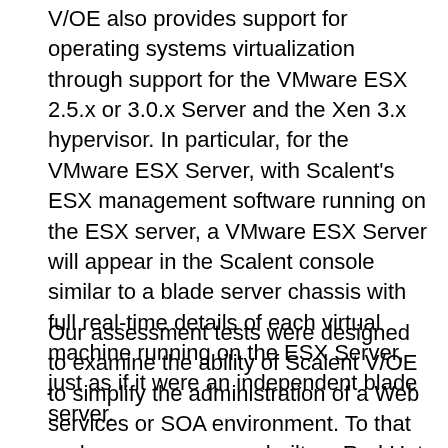V/OE also provides support for operating systems virtualization through support for the VMware ESX 2.5.x or 3.0.x Server and the Xen 3.x hypervisor. In particular, for the VMware ESX Server, with Scalent's ESX management software running on the ESX server, a VMware ESX Server will appear in the Scalent console similar to a blade server chassis with full real-time details of each virtual machine running on the ESX Server, just as if it were an independent blade server.
Our assessment tests were designed to examine the ability of Scalent V/OE to simplify the administration of a Web services or SOA environment. To that end, we ran personas built on Red Hat Enterprise Linux and SuSE Linux